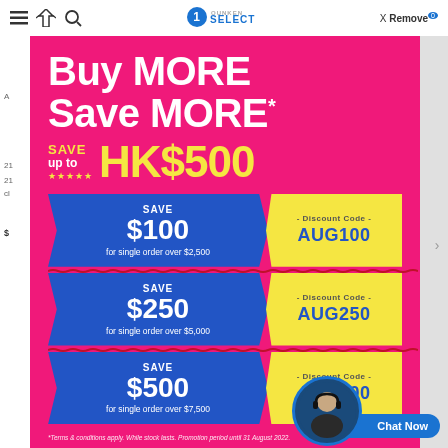SELECT — X Remove 0
Buy MORE Save MORE*
SAVE up to ★★★★★ HK$500
[Figure (infographic): Three coupon rows showing savings tiers: SAVE $100 for single order over $2,500 / Discount Code AUG100; SAVE $250 for single order over $5,000 / Discount Code AUG250; SAVE $500 for single order over $7,500 / Discount Code AUG500]
*Terms & conditions apply. While stock lasts. Promotion period until 31 August 2022.
Chat Now